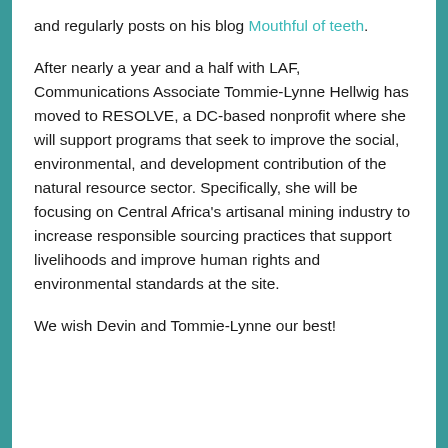and regularly posts on his blog Mouthful of teeth.
After nearly a year and a half with LAF, Communications Associate Tommie-Lynne Hellwig has moved to RESOLVE, a DC-based nonprofit where she will support programs that seek to improve the social, environmental, and development contribution of the natural resource sector. Specifically, she will be focusing on Central Africa's artisanal mining industry to increase responsible sourcing practices that support livelihoods and improve human rights and environmental standards at the site.
We wish Devin and Tommie-Lynne our best!